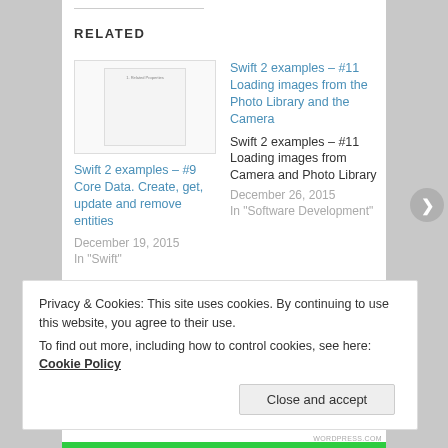RELATED
[Figure (screenshot): Thumbnail image of a document page with small text]
Swift 2 examples – #9 Core Data. Create, get, update and remove entities
December 19, 2015
In "Swift"
Swift 2 examples – #11 Loading images from the Photo Library and the Camera
Swift 2 examples – #11 Loading images from Camera and Photo Library
December 26, 2015
In "Software Development"
Privacy & Cookies: This site uses cookies. By continuing to use this website, you agree to their use.
To find out more, including how to control cookies, see here: Cookie Policy
Close and accept